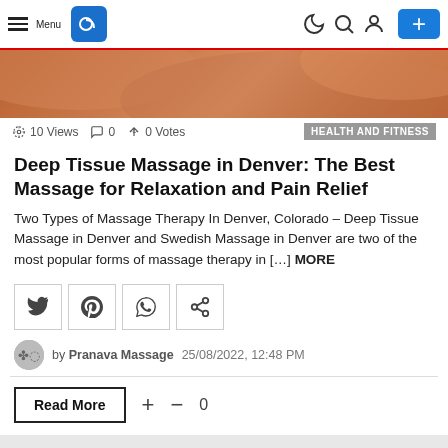Menu | C logo | dark mode | search | account | +
[Figure (photo): Hero image of hands performing massage, warm orange/brown tones]
10 Views  0  0 Votes  HEALTH AND FITNESS
Deep Tissue Massage in Denver: The Best Massage for Relaxation and Pain Relief
Two Types of Massage Therapy In Denver, Colorado – Deep Tissue Massage in Denver and Swedish Massage in Denver are two of the most popular forms of massage therapy in […] MORE
[Figure (infographic): Social share buttons: Twitter, Pinterest, WhatsApp, Share]
by Pranava Massage  25/08/2022, 12:48 PM
Read More  +  –  0